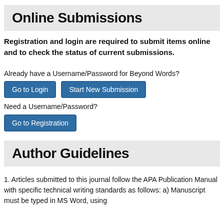Online Submissions
Registration and login are required to submit items online and to check the status of current submissions.
Already have a Username/Password for Beyond Words?
Go to Login   Start New Submission
Need a Username/Password?
Go to Registration
Author Guidelines
1. Articles submitted to this journal follow the APA Publication Manual with specific technical writing standards as follows: a) Manuscript must be typed in MS Word, using